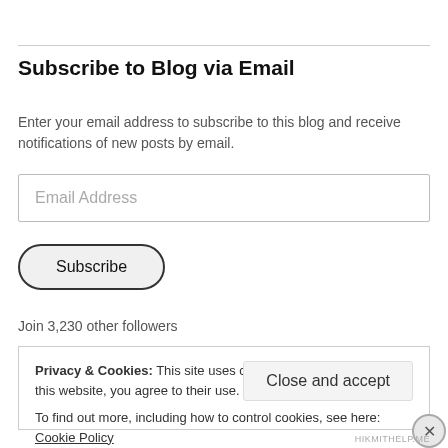Subscribe to Blog via Email
Enter your email address to subscribe to this blog and receive notifications of new posts by email.
Email Address
Subscribe
Join 3,230 other followers
Privacy & Cookies: This site uses cookies. By continuing to use this website, you agree to their use.
To find out more, including how to control cookies, see here: Cookie Policy
Close and accept